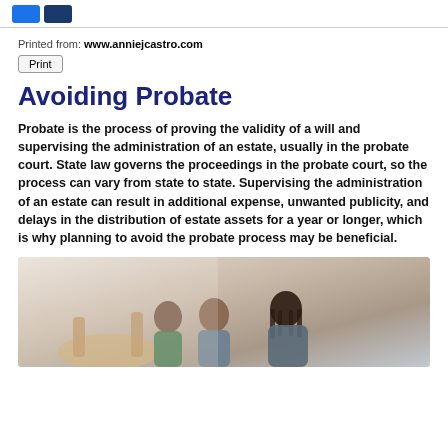[Logo: social media icons]
Printed from: www.anniejcastro.com
Print
Avoiding Probate
Probate is the process of proving the validity of a will and supervising the administration of an estate, usually in the probate court. State law governs the proceedings in the probate court, so the process can vary from state to state. Supervising the administration of an estate can result in additional expense, unwanted publicity, and delays in the distribution of estate assets for a year or longer, which is why planning to avoid the probate process may be beneficial.
[Figure (photo): Three people (two older adults and a younger woman with braids) sitting together, apparently in conversation, in a bright room.]